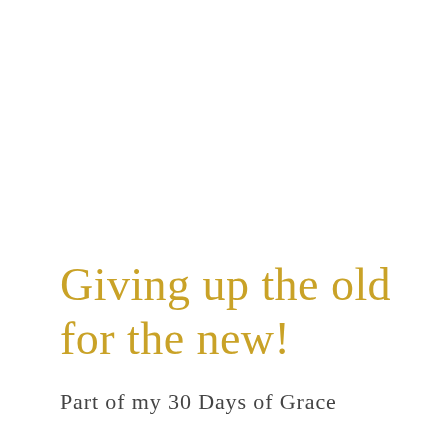Giving up the old for the new!
Part of my 30 Days of Grace